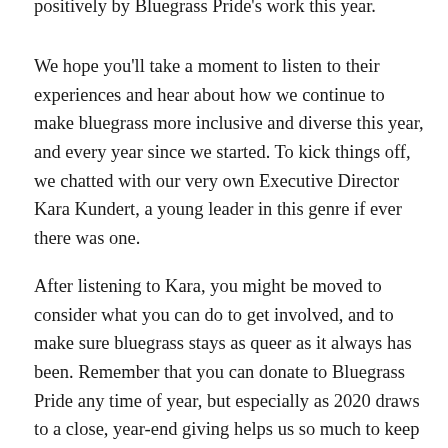positively by Bluegrass Pride's work this year.
We hope you'll take a moment to listen to their experiences and hear about how we continue to make bluegrass more inclusive and diverse this year, and every year since we started. To kick things off, we chatted with our very own Executive Director Kara Kundert, a young leader in this genre if ever there was one.
After listening to Kara, you might be moved to consider what you can do to get involved, and to make sure bluegrass stays as queer as it always has been. Remember that you can donate to Bluegrass Pride any time of year, but especially as 2020 draws to a close, year-end giving helps us so much to keep pushing onward—to keep up the forward roll, if you will. We hope you'll be inspired by her words and moved to give, if you can.
In the hope of your love,